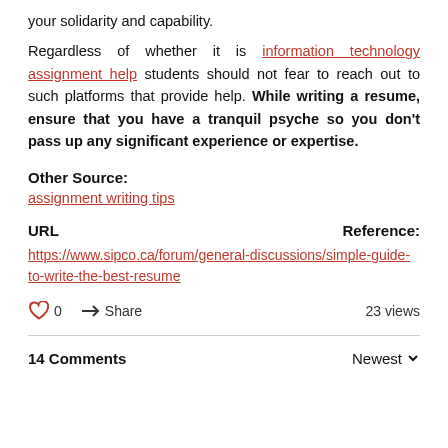your solidarity and capability.
Regardless of whether it is information technology assignment help students should not fear to reach out to such platforms that provide help. While writing a resume, ensure that you have a tranquil psyche so you don't pass up any significant experience or expertise.
Other Source:
assignment writing tips
URL    Reference:
https://www.sipco.ca/forum/general-discussions/simple-guide-to-write-the-best-resume
0   Share   23 views
14 Comments   Newest